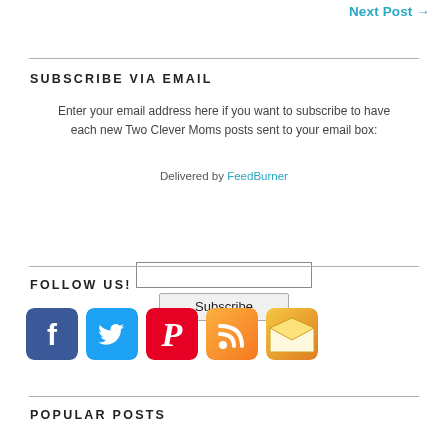Next Post →
SUBSCRIBE VIA EMAIL
Enter your email address here if you want to subscribe to have each new Two Clever Moms posts sent to your email box:
Delivered by FeedBurner
FOLLOW US!
[Figure (infographic): Social media icons in a row: Facebook (blue rounded square), Twitter (blue rounded square), Pinterest (red rounded square), RSS feed (orange rounded square), Email/envelope (gold/orange envelope icon)]
POPULAR POSTS